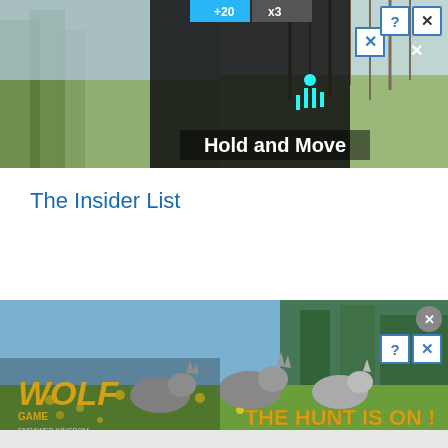[Figure (screenshot): Top advertising banner showing a dark game interface with 'Hold and Move' text, score boxes, close/help buttons, and outdoor background scene.]
The Insider List
[Figure (screenshot): Bottom advertising banner for 'Wolf Game: The Wild Kingdom' showing wolves running through a field of flowers with text 'THE HUNT IS ON!' and close/help buttons.]